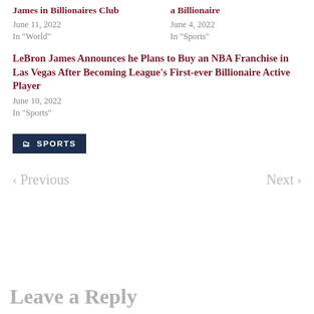James in Billionaires Club
June 11, 2022
In "World"
a Billionaire
June 4, 2022
In "Sports"
LeBron James Announces he Plans to Buy an NBA Franchise in Las Vegas After Becoming League's First-ever Billionaire Active Player
June 10, 2022
In "Sports"
SPORTS
< Previous
Next >
Leave a Reply